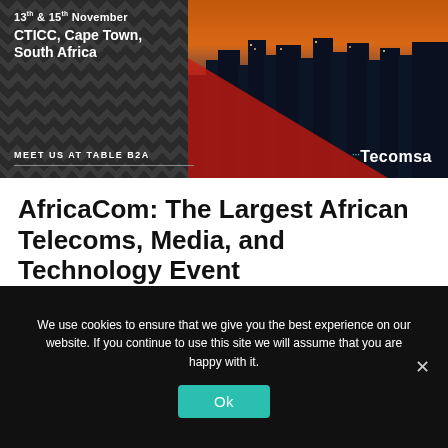[Figure (photo): AfricaCom event banner showing a city skyline (Cape Town) at sunset with a dark geometric diamond-pattern background on the left. Text overlay shows dates and location. Tecomsa logo in bottom right. 'MEET US AT TABLE B2A' text at bottom left.]
AfricaCom: The Largest African Telecoms, Media, and Technology Event
The world's largest African tech festival is back for its 21st year - take a look at why "AfricaCom is the
We use cookies to ensure that we give you the best experience on our website. If you continue to use this site we will assume that you are happy with it.